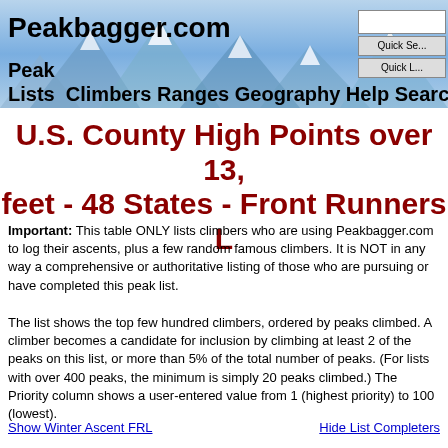Peakbagger.com — Peak Lists | Climbers | Ranges | Geography | Help | Search | Log In
U.S. County High Points over 13, feet - 48 States - Front Runners L
Important: This table ONLY lists climbers who are using Peakbagger.com to log their ascents, plus a few random famous climbers. It is NOT in any way a comprehensive or authoritative listing of those who are pursuing or have completed this peak list.
The list shows the top few hundred climbers, ordered by peaks climbed. A climber becomes a candidate for inclusion by climbing at least 2 of the peaks on this list, or more than 5% of the total number of peaks. (For lists with over 400 peaks, the minimum is simply 20 peaks climbed.) The Priority column shows a user-entered value from 1 (highest priority) to 100 (lowest).
Show Winter Ascent FRL    Hide List Completers